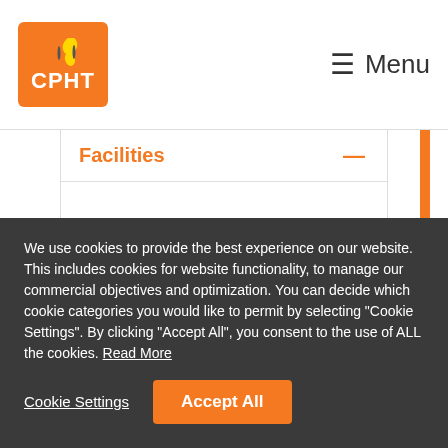CPHT Menu
Facilities
Centrally located in Haymarket, Edinburgh, there are a number of nearby cafes and restaurants.
We use cookies to provide the best experience on our website. This includes cookies for website functionality, to manage our commercial objectives and optimization. You can decide which cookie categories you would like to permit by selecting "Cookie Settings". By clicking "Accept All", you consent to the use of ALL the cookies. Read More
Cookie Settings
Accept All